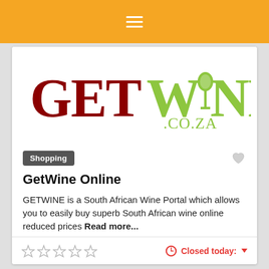Navigation menu bar with hamburger icon
[Figure (logo): GETWINE.CO.ZA logo: 'GET' in dark red serif font, 'WINE' in lime green serif font with a wine glass icon inside the 'I', '.CO.ZA' in lime green below]
Shopping
GetWine Online
GETWINE is a South African Wine Portal which allows you to easily buy superb South African wine online reduced prices Read more...
★★★★★   Closed today: ▼